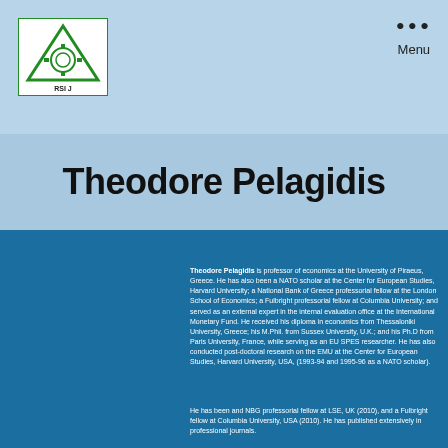[Figure (logo): RSIJ Foundation Year 2008 logo — green triangle with gear/cog symbol inside, on white background with green border]
Menu
Theodore Pelagidis
Theodore Pelagidis is professor of economics at the University of Piraeus, Greece. He has also been a NATO scholar at the Center for European Studies, Harvard University; a National Bank of Greece professorial fellow at the London School of Economics; a Fulbright professorial fellow at Columbia University; and served as an external expert in the internal evaluation office at the International Monetary Fund. He received his diploma in economics from Thessaloniki University, Greece; his M.Phil. from Sussex University, U.K.; and his Ph.D from Paris University, France, while serving as an EU SPES researcher. He has also conducted post-doctoral research on the EMU at the Center for European Studies, Harvard University, USA, (1993-94 and 1995-96 as a NATO scholar).
He has been and NBG professorial fellow at LSE, UK (2010), and a Fulbright fellow at Columbia University, USA (2010). He has published extensively in professional journals.